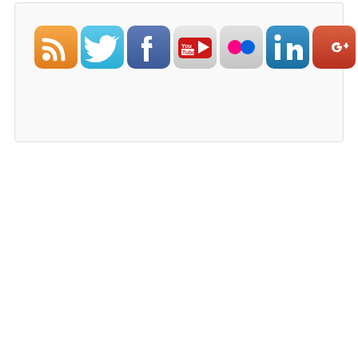[Figure (infographic): A row of seven social media icon buttons: RSS (orange), Twitter (blue), Facebook (dark blue), YouTube (red/white), Flickr (pink/gray), LinkedIn (blue), Google+ (red/orange). Displayed inside a light gray rounded card at the top of the page.]